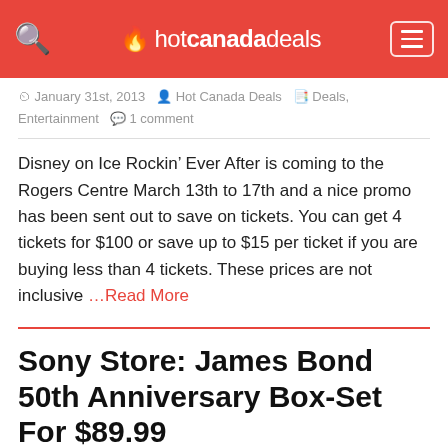hotcanadadeals
January 31st, 2013  Hot Canada Deals  Deals, Entertainment  1 comment
Disney on Ice Rockin' Ever After is coming to the Rogers Centre March 13th to 17th and a nice promo has been sent out to save on tickets. You can get 4 tickets for $100 or save up to $15 per ticket if you are buying less than 4 tickets. These prices are not inclusive …Read More
Sony Store: James Bond 50th Anniversary Box-Set For $89.99
January 31st, 2013  Hot Canada Deals  Deals, Entertainment  0 comments